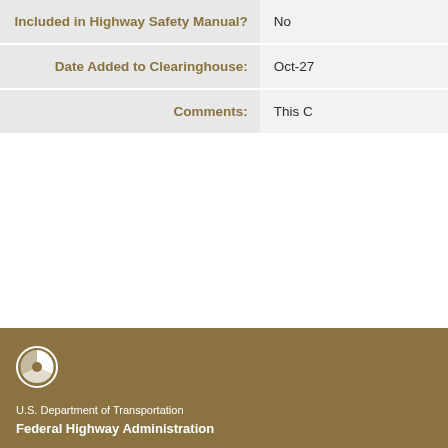| Field | Value |
| --- | --- |
| Included in Highway Safety Manual? | No |
| Date Added to Clearinghouse: | Oct-27 |
| Comments: | This C |
U.S. Department of Transportation
Federal Highway Administration